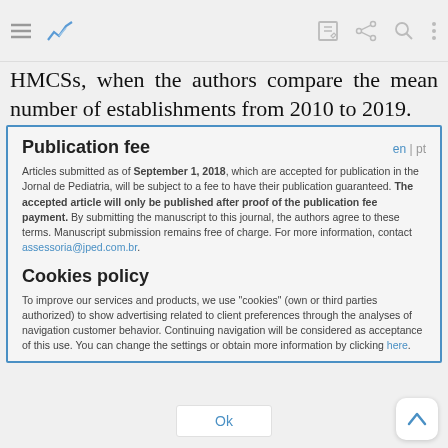Toolbar with navigation icons
HMCSs, when the authors compare the mean number of establishments from 2010 to 2019.
Publication fee
Articles submitted as of September 1, 2018, which are accepted for publication in the Jornal de Pediatria, will be subject to a fee to have their publication guaranteed. The accepted article will only be published after proof of the publication fee payment. By submitting the manuscript to this journal, the authors agree to these terms. Manuscript submission remains free of charge. For more information, contact assessoria@jped.com.br.
Cookies policy
To improve our services and products, we use "cookies" (own or third parties authorized) to show advertising related to client preferences through the analyses of navigation customer behavior. Continuing navigation will be considered as acceptance of this use. You can change the settings or obtain more information by clicking here.